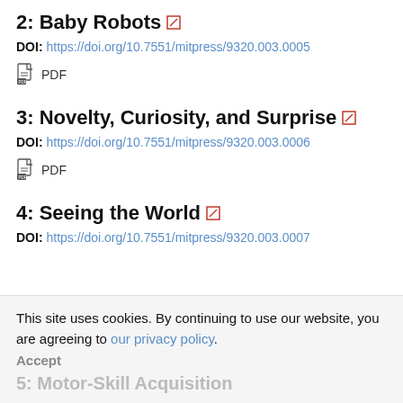2: Baby Robots
DOI: https://doi.org/10.7551/mitpress/9320.003.0005
PDF
3: Novelty, Curiosity, and Surprise
DOI: https://doi.org/10.7551/mitpress/9320.003.0006
PDF
4: Seeing the World
DOI: https://doi.org/10.7551/mitpress/9320.003.0007
This site uses cookies. By continuing to use our website, you are agreeing to our privacy policy. Accept
5: Motor-Skill Acquisition